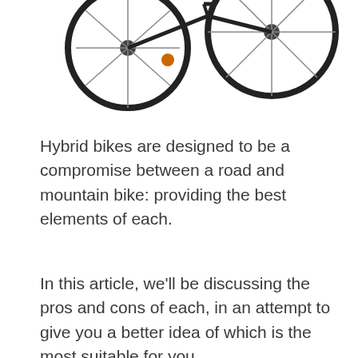[Figure (photo): Partial view of a hybrid/BMX style bicycle showing the frame, handlebars, and two wheels with spokes against a white background]
Hybrid bikes are designed to be a compromise between a road and mountain bike: providing the best elements of each.
In this article, we'll be discussing the pros and cons of each, in an attempt to give you a better idea of which is the most suitable for you.
Road Bikes
Road bikes are characterized by their lightweight frames, thin tires, and assortment of gears designed to